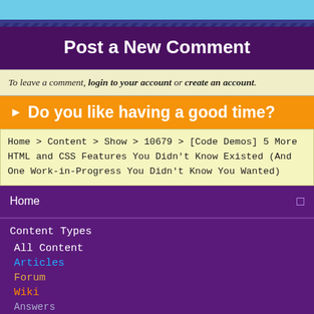Post a New Comment
To leave a comment, login to your account or create an account.
▶ Do you like having a good time?
Home > Content > Show > 10679 > [Code Demos] 5 More HTML and CSS Features You Didn't Know Existed (And One Work-in-Progress You Didn't Know You Wanted)
Home
Content Types
All Content
Articles
Forum
Wiki
Answers